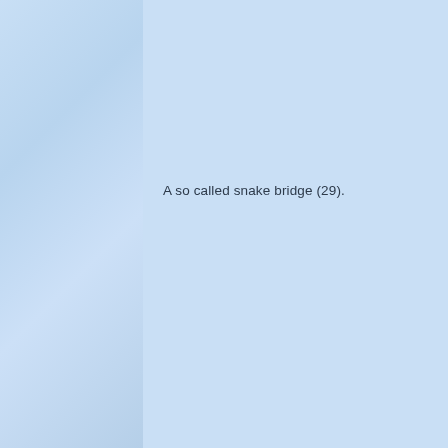[Figure (photo): A light blue background image filling the left portion of the page, resembling a sky or water texture.]
A so called snake bridge (29).